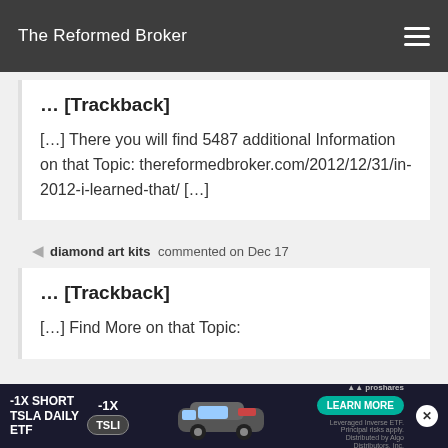The Reformed Broker
… [Trackback]
[…] There you will find 5487 additional Information on that Topic: thereformedbroker.com/2012/12/31/in-2012-i-learned-that/ […]
diamond art kits commented on Dec 17
… [Trackback]
[…] Find More on that Topic: